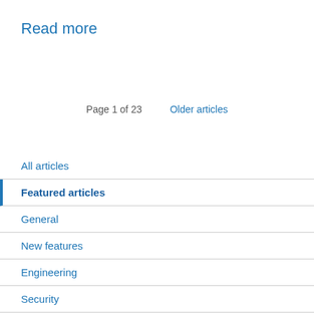Read more
Page 1 of 23   Older articles
All articles
Featured articles
General
New features
Engineering
Security